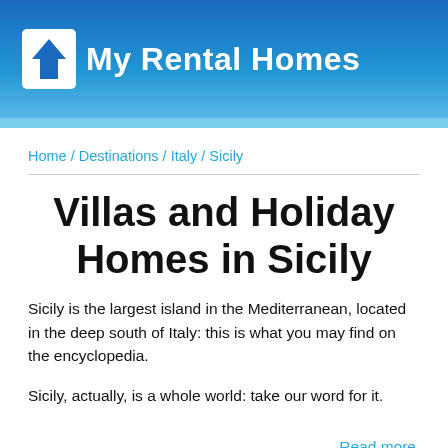My Rental Homes
Home / Destinations / Italy / Sicily
Villas and Holiday Homes in Sicily
Sicily is the largest island in the Mediterranean, located in the deep south of Italy: this is what you may find on the encyclopedia.
Sicily, actually, is a whole world: take our word for it.
Read more